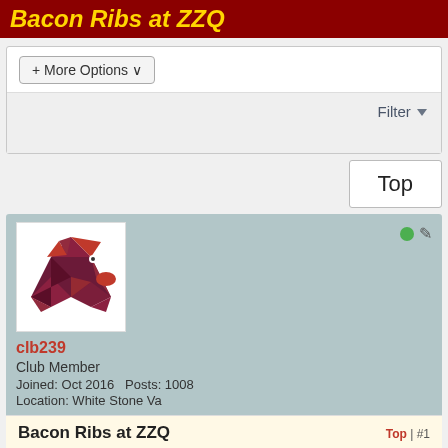Bacon Ribs at ZZQ
+ More Options ▾
Filter ▼
Top
clb239
Club Member
Joined: Oct 2016    Posts: 1008
Location: White Stone Va
Bacon Ribs at ZZQ
Top | #1